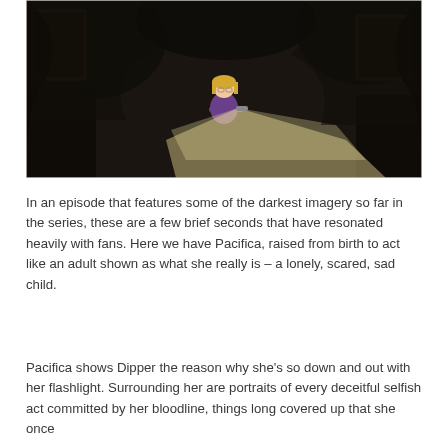[Figure (illustration): A dark animated scene showing a small cartoon character (Pacifica) with a flashlight illuminating a cone of light in a dark cave-like setting surrounded by shadowy figures and portraits.]
In an episode that features some of the darkest imagery so far in the series, these are a few brief seconds that have resonated heavily with fans. Here we have Pacifica, raised from birth to act like an adult shown as what she really is – a lonely, scared, sad child.
Pacifica shows Dipper the reason why she's so down and out with her flashlight. Surrounding her are portraits of every deceitful selfish act committed by her bloodline, things long covered up that she once